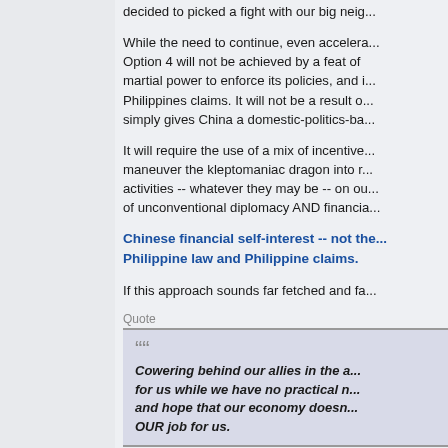decided to picked a fight with our big neig...
While the need to continue, even accelera... Option 4 will not be achieved by a feat of martial power to enforce its policies, and i... Philippines claims. It will not be a result o... simply gives China a domestic-politics-ba...
It will require the use of a mix of incentive... maneuver the kleptomaniac dragon into r... activities -- whatever they may be -- on ou... of unconventional diplomacy AND financia...
Chinese financial self-interest -- not the... Philippine law and Philippine claims.
If this approach sounds far fetched and fa...
Quote
Cowering behind our allies in the a... for us while we have no practical n... and hope that our economy doesn... OUR job for us.